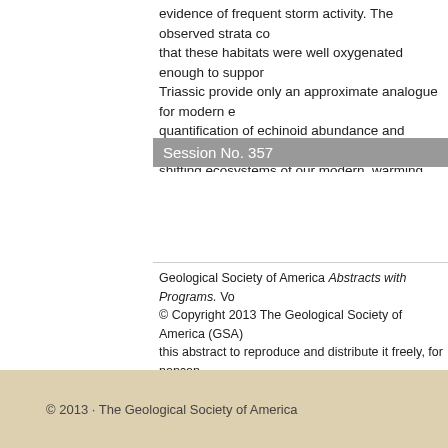evidence of frequent storm activity. The observed strata co that these habitats were well oxygenated enough to suppor Triassic provide only an approximate analogue for modern e quantification of echinoid abundance and diversity may help shifting ecosystems of our modern, warming oceans.
Session No. 357
Geological Society of America Abstracts with Programs. Vo © Copyright 2013 The Geological Society of America (GSA) this abstract to reproduce and distribute it freely, for noncom scientist to download a single copy of this electronic file anc advancing science and education, including classroom use, including the author information. All other forms of reproduc GSA Copyright Permissions.
Back to: T167. The Road to Recovery—The Nature of B
Previous Abs
© 2013 · The Geological Society of America